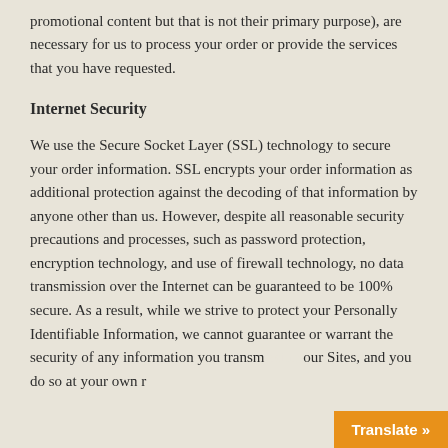promotional content but that is not their primary purpose), are necessary for us to process your order or provide the services that you have requested.
Internet Security
We use the Secure Socket Layer (SSL) technology to secure your order information. SSL encrypts your order information as additional protection against the decoding of that information by anyone other than us. However, despite all reasonable security precautions and processes, such as password protection, encryption technology, and use of firewall technology, no data transmission over the Internet can be guaranteed to be 100% secure. As a result, while we strive to protect your Personally Identifiable Information, we cannot guarantee or warrant the security of any information you transmit... our Sites, and you do so at your own r...
[Figure (other): Orange 'Translate »' button overlay in the bottom-right corner]